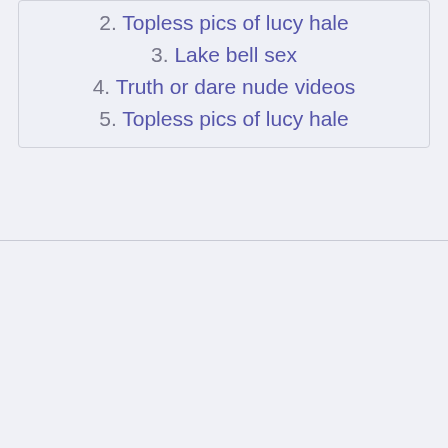2. Topless pics of lucy hale
3. Lake bell sex
4. Truth or dare nude videos
5. Topless pics of lucy hale